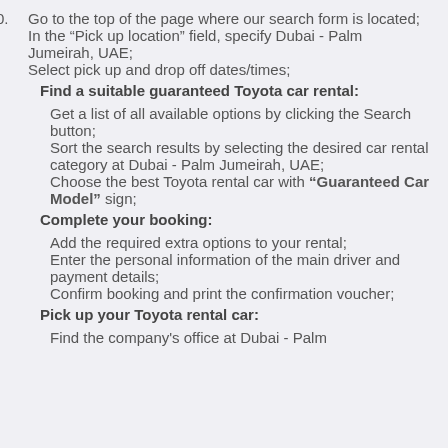Go to the top of the page where our search form is located;
In the “Pick up location” field, specify Dubai - Palm Jumeirah, UAE;
Select pick up and drop off dates/times;
Find a suitable guaranteed Toyota car rental:
Get a list of all available options by clicking the Search button;
Sort the search results by selecting the desired car rental category at Dubai - Palm Jumeirah, UAE;
Choose the best Toyota rental car with “Guaranteed Car Model” sign;
Complete your booking:
Add the required extra options to your rental;
Enter the personal information of the main driver and payment details;
Confirm booking and print the confirmation voucher;
Pick up your Toyota rental car:
Find the company's office at Dubai - Palm